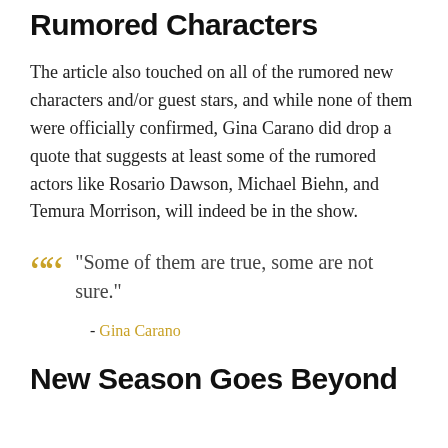Rumored Characters
The article also touched on all of the rumored new characters and/or guest stars, and while none of them were officially confirmed, Gina Carano did drop a quote that suggests at least some of the rumored actors like Rosario Dawson, Michael Biehn, and Temura Morrison, will indeed be in the show.
“Some of them are true, some are not sure.”
- Gina Carano
New Season Goes Beyond